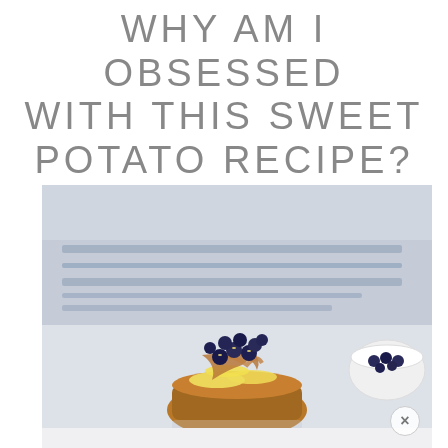WHY AM I OBSESSED WITH THIS SWEET POTATO RECIPE?
[Figure (photo): Food photo showing a sweet potato topped with banana slices, blueberries, and peanut butter drizzle, on a white surface with a striped blue and white cloth in the background, and a small white bowl of blueberries to the right]